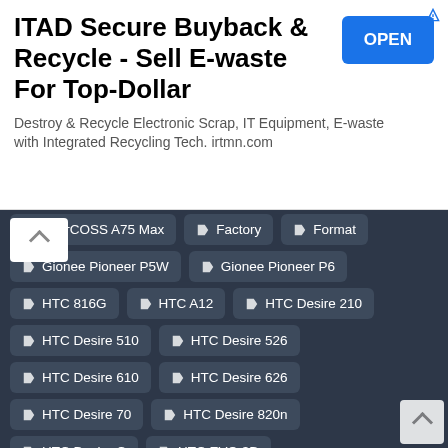[Figure (screenshot): Advertisement banner: ITAD Secure Buyback & Recycle - Sell E-waste For Top-Dollar. Destroy & Recycle Electronic Scrap, IT Equipment, E-waste with Integrated Recycling Tech. irtmn.com. Blue OPEN button on the right.]
EverCOSS A75 Max
Factory
Format
Gionee Pioneer P5W
Gionee Pioneer P6
HTC 816G
HTC A12
HTC Desire 210
HTC Desire 510
HTC Desire 526
HTC Desire 610
HTC Desire 626
HTC Desire 70
HTC Desire 820n
HTC Desire C
HTC EVO 3D
HTC Eternity
HTC One Max
HTC One Mini
HTC One S
HTC Z710E Sensation
Huawei Ascend G620s